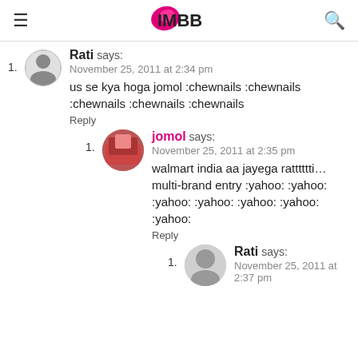IMBB
Rati says: November 25, 2011 at 2:34 pm — us se kya hoga jomol :chewnails :chewnails :chewnails :chewnails :chewnails — Reply
jomol says: November 25, 2011 at 2:35 pm — walmart india aa jayega ratttttti…multi-brand entry :yahoo: :yahoo: :yahoo: :yahoo: :yahoo: :yahoo: :yahoo: — Reply
Rati says: November 25, 2011 at 2:37 pm